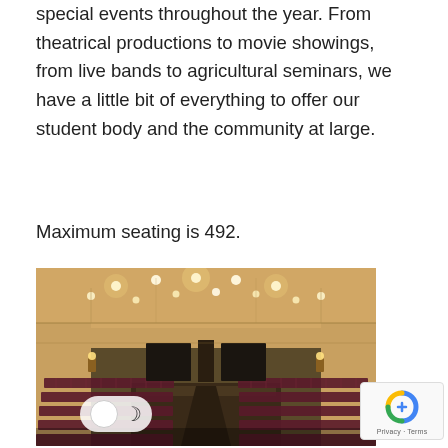special events throughout the year. From theatrical productions to movie showings, from live bands to agricultural seminars, we have a little bit of everything to offer our student body and the community at large.
Maximum seating is 492.
[Figure (photo): Interior of a theater/auditorium viewed from the stage, showing rows of maroon/burgundy seats, warm yellow-lit walls and ceiling with recessed spotlights, and a central aisle.]